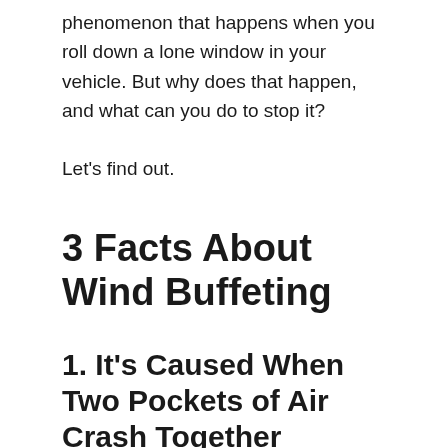phenomenon that happens when you roll down a lone window in your vehicle. But why does that happen, and what can you do to stop it?
Let's find out.
3 Facts About Wind Buffeting
1. It's Caused When Two Pockets of Air Crash Together